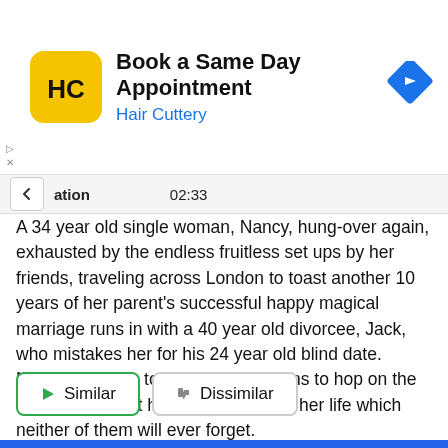[Figure (screenshot): Hair Cuttery app advertisement banner with yellow logo icon, 'Book a Same Day Appointment' title, 'Hair Cuttery' subtitle in blue, and blue diamond navigation arrow on the right]
ation  02:33
A 34 year old single woman, Nancy, hung-over again, exhausted by the endless fruitless set ups by her friends, traveling across London to toast another 10 years of her parent's successful happy magical marriage runs in with a 40 year old divorcee, Jack, who mistakes her for his 24 year old blind date. Nancy, deciding to go with it, happens to hop on the most chaotic yet hilarious journey of her life which neither of them will ever forget.
Similar
Dissimilar